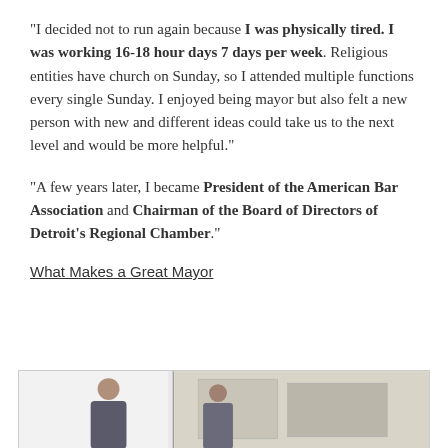“I decided not to run again because I was physically tired. I was working 16-18 hour days 7 days per week. Religious entities have church on Sunday, so I attended multiple functions every single Sunday. I enjoyed being mayor but also felt a new person with new and different ideas could take us to the next level and would be more helpful.”
“A few years later, I became President of the American Bar Association and Chairman of the Board of Directors of Detroit’s Regional Chamber.”
What Makes a Great Mayor
[Figure (photo): Photo of a person (appears to be an older man) in an office setting with framed artwork or map visible on the wall behind them.]